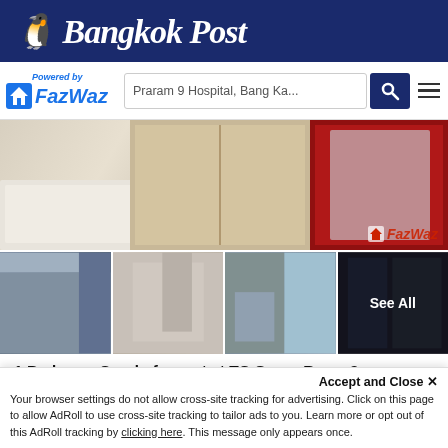Bangkok Post
[Figure (logo): FazWaz logo with house icon and 'Powered by' text, search bar showing 'Praram 9 Hospital, Bang Ka...', search button, hamburger menu]
[Figure (photo): Main large photo of condo interior showing bedroom furniture, mattress, wooden wardrobe with FazWaz watermark]
[Figure (photo): Four thumbnail photos of condo rooms with 'See All' overlay on the last thumbnail]
1 Bedroom Condo for rent at TC Green Rama 9
TC Green Rama 9, a high-rise condominium with a striking white exterior on the potential location of the new CBD of Bangkok. The location allows convenient travel near Si Rat Expressway and 3 electric...
1 bedroom  1 bathroom  30 SqM  Condo
Accept and Close ✕
Your browser settings do not allow cross-site tracking for advertising. Click on this page to allow AdRoll to use cross-site tracking to tailor ads to you. Learn more or opt out of this AdRoll tracking by clicking here. This message only appears once.